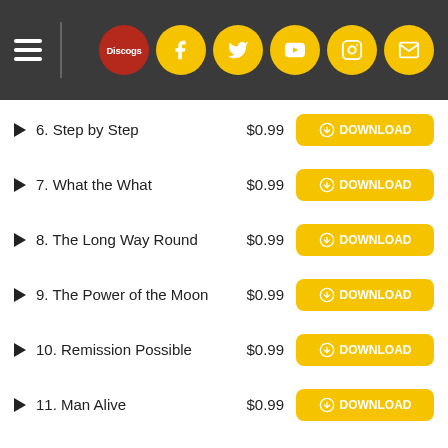Navigation header with Discogs logo and social media icons
6. Step by Step — $0.99 DOWNLOAD
7. What the What — $0.99 DOWNLOAD
8. The Long Way Round — $0.99 DOWNLOAD
9. The Power of the Moon — $0.99 DOWNLOAD
10. Remission Possible — $0.99 DOWNLOAD
11. Man Alive — $0.99 DOWNLOAD
12. And the Address — $0.99 DOWNLOAD
13. Dancing in My Sleep — $0.99 DOWNLOAD